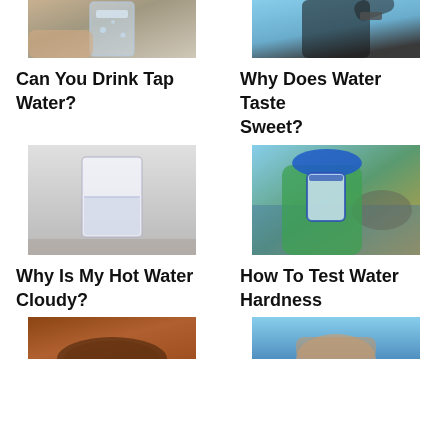[Figure (photo): Photo of a hand holding a glass of water with ice and a straw]
[Figure (photo): Photo of a person in black athletic wear drinking from a bottle outdoors]
Can You Drink Tap Water?
Why Does Water Taste Sweet?
[Figure (photo): Black and white photo of a glass of water on a surface]
[Figure (photo): Photo of a worker in blue hard hat and yellow vest holding a water sample container near the ocean]
Why Is My Hot Water Cloudy?
How To Test Water Hardness
[Figure (photo): Photo showing a faucet or pot, partial view from bottom]
[Figure (photo): Photo of a woman against a blue background, partial view from bottom]